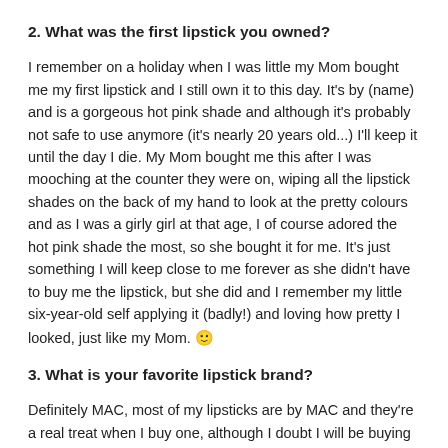2. What was the first lipstick you owned?
I remember on a holiday when I was little my Mom bought me my first lipstick and I still own it to this day. It's by (name) and is a gorgeous hot pink shade and although it's probably not safe to use anymore (it's nearly 20 years old...) I'll keep it until the day I die. My Mom bought me this after I was mooching at the counter they were on, wiping all the lipstick shades on the back of my hand to look at the pretty colours and as I was a girly girl at that age, I of course adored the hot pink shade the most, so she bought it for me. It's just something I will keep close to me forever as she didn't have to buy me the lipstick, but she did and I remember my little six-year-old self applying it (badly!) and loving how pretty I looked, just like my Mom. 🙂
3. What is your favorite lipstick brand?
Definitely MAC, most of my lipsticks are by MAC and they're a real treat when I buy one, although I doubt I will be buying any MAC lipsticks for a while now.